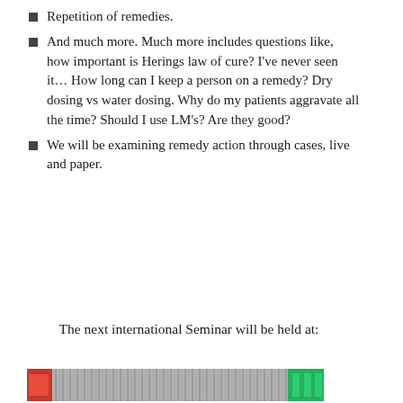Repetition of remedies.
And much more. Much more includes questions like, how important is Herings law of cure? I’ve never seen it… How long can I keep a person on a remedy? Dry dosing vs water dosing. Why do my patients aggravate all the time? Should I use LM’s? Are they good?
We will be examining remedy action through cases, live and paper.
The next international Seminar will be held at:
[Figure (photo): Partial image of a building or venue, partially visible at the bottom of the page]